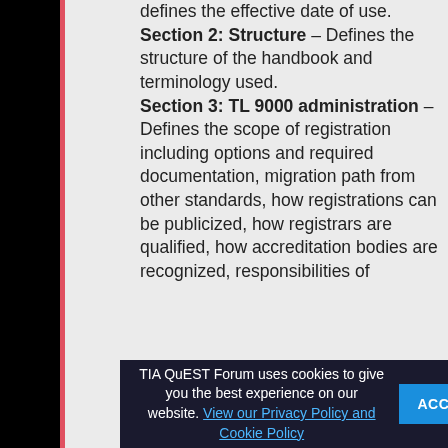defines the effective date of use. Section 2: Structure – Defines the structure of the handbook and terminology used. Section 3: TL 9000 administration – Defines the scope of registration including options and required documentation, migration path from other standards, how registrations can be publicized, how registrars are qualified, how accreditation bodies are recognized, responsibilities of
TIA QuEST Forum uses cookies to give you the best experience on our website. View our Privacy Policy and Cookie Policy   ACCEPT